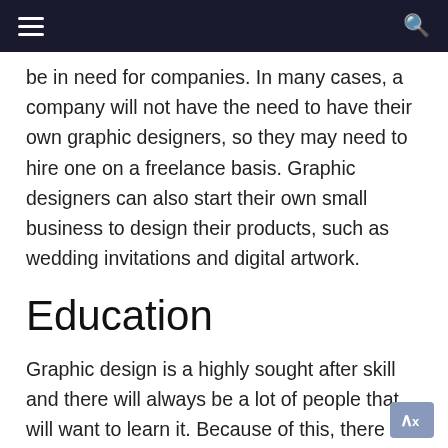≡ [navigation bar] 🔍
be in need for companies. In many cases, a company will not have the need to have their own graphic designers, so they may need to hire one on a freelance basis. Graphic designers can also start their own small business to design their products, such as wedding invitations and digital artwork.
Education
Graphic design is a highly sought after skill and there will always be a lot of people that will want to learn it. Because of this, there will always be the opportunity to teach people how to use graphic designing software, either through a school or informally. However, to do this job, a graphic designer will need to stay up to date with all of the software updates.